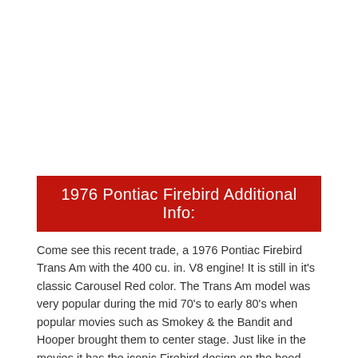[Figure (photo): White/blank space representing an image area at the top of the page (image of a 1976 Pontiac Firebird Trans Am)]
1976 Pontiac Firebird Additional Info:
Come see this recent trade, a 1976 Pontiac Firebird Trans Am with the 400 cu. in. V8 engine! It is still in it's classic Carousel Red color. The Trans Am model was very popular during the mid 70's to early 80's when popular movies such as Smokey & the Bandit and Hooper brought them to center stage. Just like in the movies it has the iconic Firebird design on the hood, Trans Am decals on front fenders and on wraparound rear deck spoiler. It also has a Shaker hood, Formula steering wheel, rally gauges, electric clock and instrument panel tach, aluminum swirl-finish instrument panel trim plate, and the original AM/FM radio. Want to